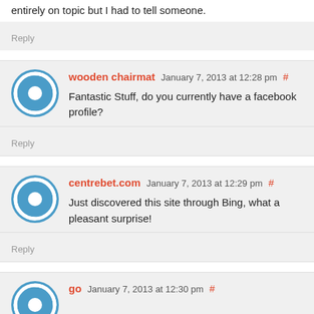entirely on topic but I had to tell someone.
Reply
wooden chairmat January 7, 2013 at 12:28 pm #
Fantastic Stuff, do you currently have a facebook profile?
Reply
centrebet.com January 7, 2013 at 12:29 pm #
Just discovered this site through Bing, what a pleasant surprise!
Reply
go January 7, 2013 at 12:30 pm #
I'm curious to find out what blog system you are working with? I'm having some minor security issues with my latest site and I would like to find